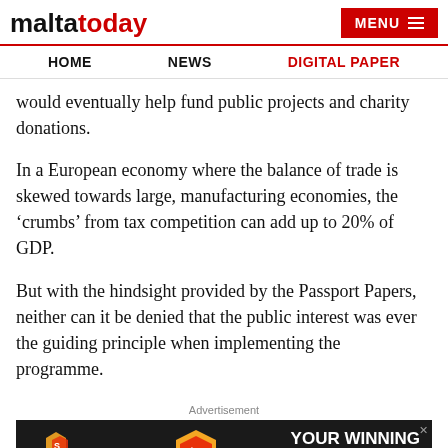maltatoday | MENU
HOME   NEWS   DIGITAL PAPER
would eventually help fund public projects and charity donations.
In a European economy where the balance of trade is skewed towards large, manufacturing economies, the ‘crumbs’ from tax competition can add up to 20% of GDP.
But with the hindsight provided by the Passport Papers, neither can it be denied that the public interest was ever the guiding principle when implementing the programme.
Advertisement
[Figure (photo): SOFTSWISS advertisement banner: dark background with colourful casino chip logos and text reading YOUR WINNING COMBINATION IN iGAMING]